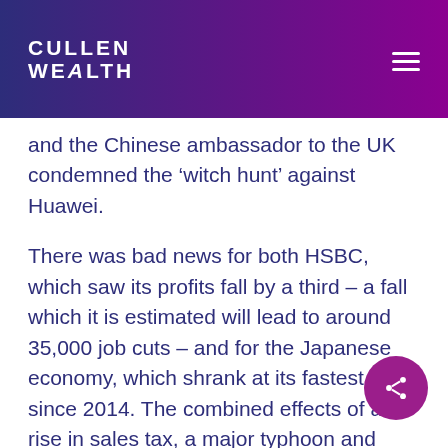CULLEN WEALTH
and the Chinese ambassador to the UK condemned the ‘witch hunt’ against Huawei.
There was bad news for both HSBC, which saw its profits fall by a third – a fall which it is estimated will lead to around 35,000 job cuts – and for the Japanese economy, which shrank at its fastest rate since 2014. The combined effects of a rise in sales tax, a major typhoon and weak global